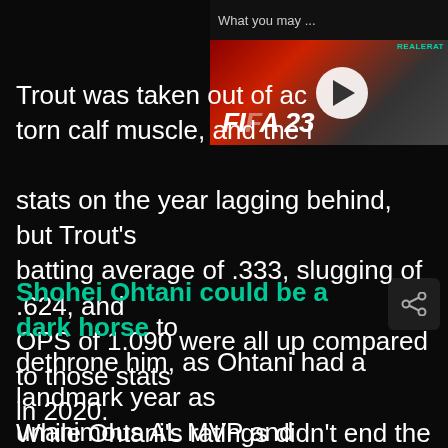[Figure (screenshot): Video thumbnail overlay in top-right showing 'What you may...' text, a play button, and FIFA 23 branding over a sports scene with a red jersey player]
Trout was taken out of action with a torn calf muscle, and the injury left his stats on the year lagging behind, but Trout's batting average of .333, slugging of .624, and OPS of 1.090 were all up compared to those stats in 2020.
Shohei Ohtani could be a dark horse to dethrone him, as Ohtani had a landmark year as unanimous AL MVP and became the first ever two-way All-Star in MLB history.
While Ohtani's ratings didn't end the season in